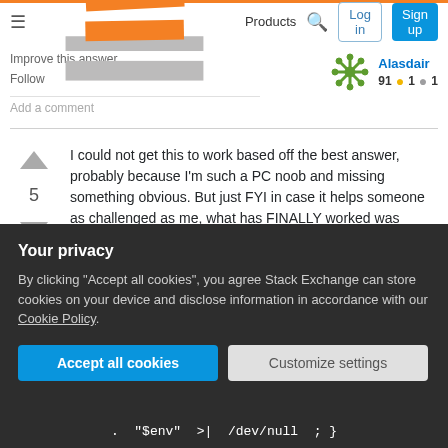≡  [Stack Overflow logo]  Products   🔍   Log in   Sign up
Improve this answer
Follow
Add a comment
Alasdair
91 ● 1 ● 1
I could not get this to work based off the best answer, probably because I'm such a PC noob and missing something obvious. But just FYI in case it helps someone as challenged as me, what has FINALLY worked was through one of the links here (referenced in the answers). This involved simply pasting the following to my .bash_profile:
Your privacy
By clicking "Accept all cookies", you agree Stack Exchange can store cookies on your device and disclose information in accordance with our Cookie Policy.
Accept all cookies   Customize settings
. "$env" >| /dev/null ; }